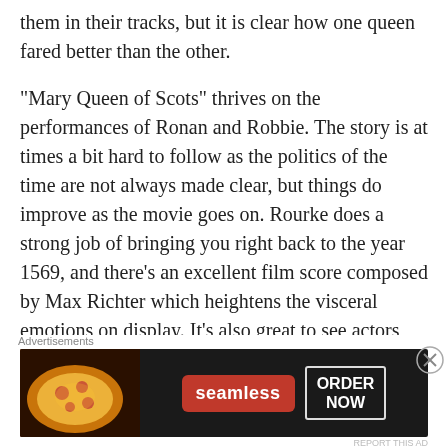them in their tracks, but it is clear how one queen fared better than the other.
“Mary Queen of Scots” thrives on the performances of Ronan and Robbie. The story is at times a bit hard to follow as the politics of the time are not always made clear, but things do improve as the movie goes on. Rourke does a strong job of bringing you right back to the year 1569, and there’s an excellent film score composed by Max Richter which heightens the visceral emotions on display. It’s also great to see actors like Guy Pearce and David Tennant
Advertisements
[Figure (photo): Seamless advertisement banner with pizza image on left, Seamless logo in red badge, and ORDER NOW button in white outlined box on dark background.]